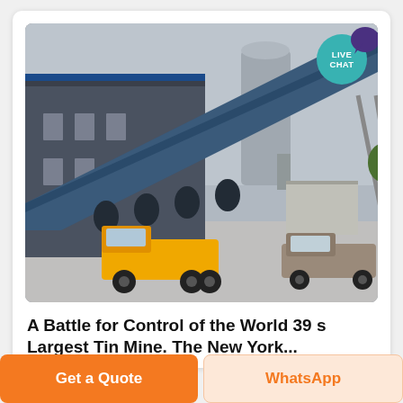[Figure (photo): Industrial facility with a large conveyor belt structure, a blue warehouse building, a cylindrical silo, a yellow flatbed truck, and a pickup truck in a paved yard. Overcast sky. A teal 'LIVE CHAT' badge is overlaid in the top-right corner of the photo.]
A Battle for Control of the World 39 s Largest Tin Mine. The New York...
Get a Quote
WhatsApp